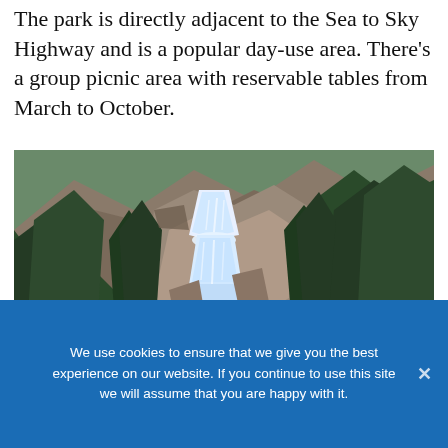The park is directly adjacent to the Sea to Sky Highway and is a popular day-use area. There's a group picnic area with reservable tables from March to October.
[Figure (photo): Aerial or distant view of a multi-tiered waterfall cascading over rocky terrain, surrounded by evergreen forest]
We use cookies to ensure that we give you the best experience on our website. If you continue to use this site we will assume that you are happy with it.